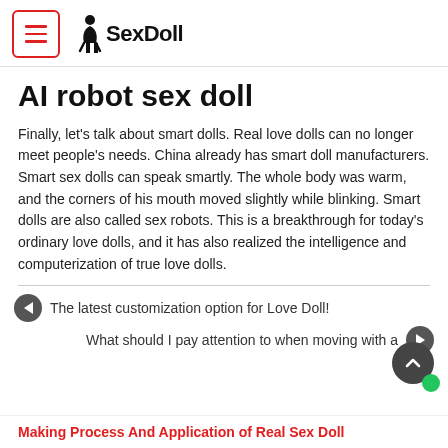OASexDoll
AI robot sex doll
Finally, let's talk about smart dolls. Real love dolls can no longer meet people's needs. China already has smart doll manufacturers. Smart sex dolls can speak smartly. The whole body was warm, and the corners of his mouth moved slightly while blinking. Smart dolls are also called sex robots. This is a breakthrough for today's ordinary love dolls, and it has also realized the intelligence and computerization of true love dolls.
The latest customization option for Love Doll!
What should I pay attention to when moving with a
Making Process And Application of Real Sex Doll